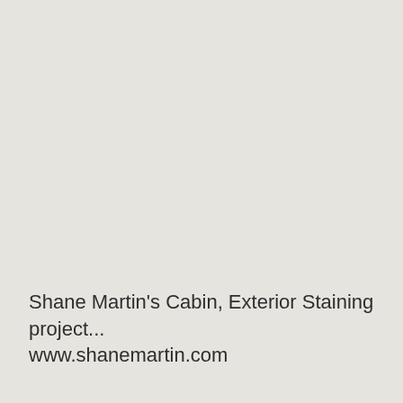Shane Martin's Cabin, Exterior Staining project... www.shanemartin.com